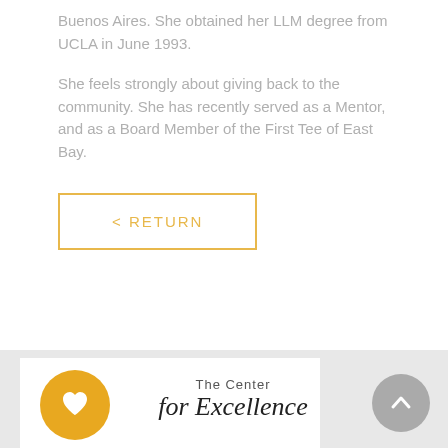Buenos Aires. She obtained her LLM degree from UCLA in June 1993.
She feels strongly about giving back to the community. She has recently served as a Mentor, and as a Board Member of the First Tee of East Bay.
[Figure (other): < RETURN button with golden/amber border and text]
[Figure (logo): The Center for Excellence logo with orange circle containing a heart icon, and script text reading 'The Center for Excellence']
[Figure (other): Gray circular scroll-to-top button with upward chevron arrow]